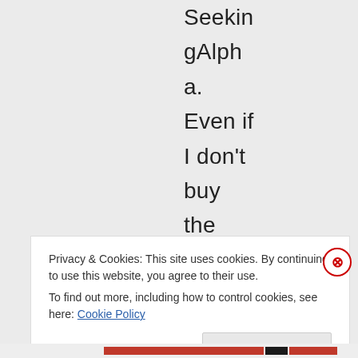SeekingAlpha. Even if I don't buy the stock, would be
Privacy & Cookies: This site uses cookies. By continuing to use this website, you agree to their use.
To find out more, including how to control cookies, see here: Cookie Policy